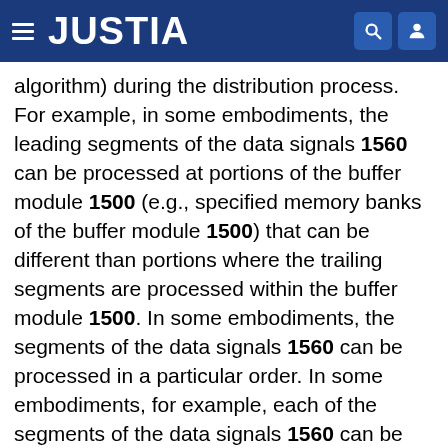JUSTIA
algorithm) during the distribution process. For example, in some embodiments, the leading segments of the data signals 1560 can be processed at portions of the buffer module 1500 (e.g., specified memory banks of the buffer module 1500) that can be different than portions where the trailing segments are processed within the buffer module 1500. In some embodiments, the segments of the data signals 1560 can be processed in a particular order. In some embodiments, for example, each of the segments of the data signals 1560 can be processed based on their respective positions within a cell. After the segments of the cells have been processed through the shared memory buffer, the segments of the cells can be ordered and sent from the buffer module 1500 during a reassembly process.
In some embodiments, for example, a read multiplexing